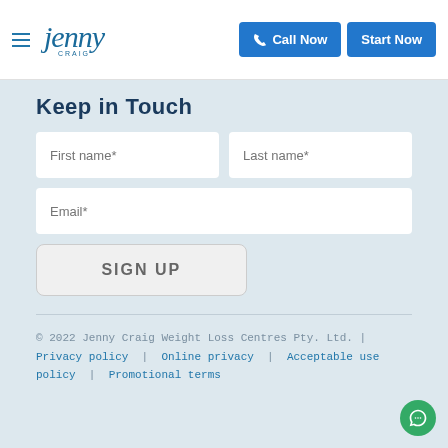Jenny Craig — Call Now | Start Now
Keep in Touch
First name* | Last name* | Email* | SIGN UP
© 2022 Jenny Craig Weight Loss Centres Pty. Ltd. | Privacy policy | Online privacy | Acceptable use policy | Promotional terms